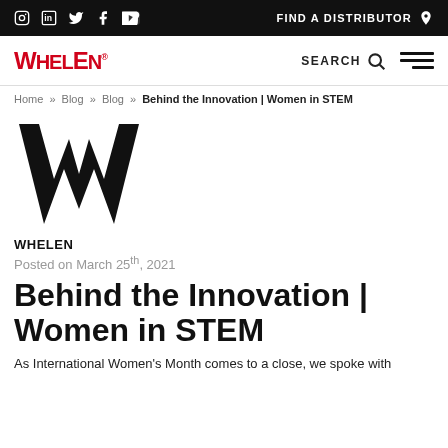Social media icons: Instagram, LinkedIn, Twitter, Facebook, YouTube | FIND A DISTRIBUTOR
[Figure (logo): Whelen logo in red with trademark symbol, plus SEARCH icon and hamburger menu]
Home » Blog » Blog » Behind the Innovation | Women in STEM
[Figure (logo): Large black W letter logo for Whelen]
WHELEN
Posted on March 25th, 2021
Behind the Innovation | Women in STEM
As International Women's Month comes to a close, we spoke with